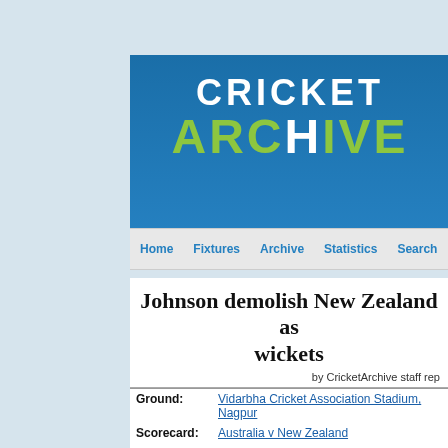[Figure (logo): CricketArchive website header logo with blue background, white CRICKET text and green ARCHIVE text with cricket player silhouette]
Home   Fixtures   Archive   Statistics   Search   On Th
Johnson demolish New Zealand as... wickets
by CricketArchive staff rep
| Ground: | Vidarbha Cricket Association Stadium, Nagpur |
| Scorecard: | Australia v New Zealand |
| Player: | NL McCullum, DL Vettori, MG Johnson, SW Tait, SR Wa... |
| Event: | ICC World Cup 2010/11 |
DateLine: 27th February 2011
Australia and New Zealand were supposed to face some stiff challe... what followed after the toss was forgettable. Barring some adventur... McCullum at the top of the order and sensible batting from Nathan M... contest. Mitchell Johnson and the other Australian pacers never allo... challenge as they demolished e brittle Kiwi batting line-up with a furi...